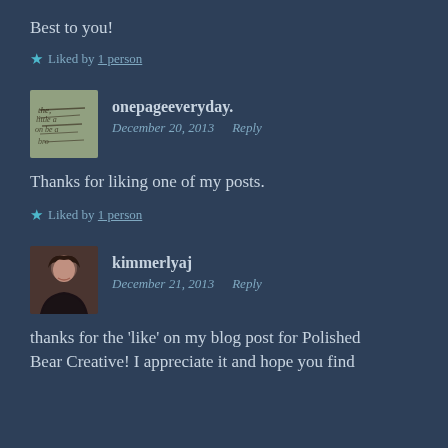Best to you!
★ Liked by 1 person
onepageeveryday.
December 20, 2013   Reply
Thanks for liking one of my posts.
★ Liked by 1 person
kimmerlyaj
December 21, 2013   Reply
thanks for the 'like' on my blog post for Polished
Bear Creative! I appreciate it and hope you find